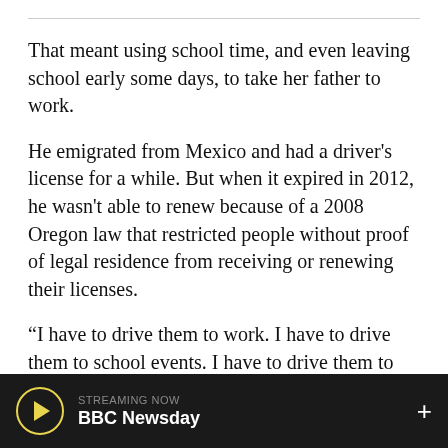That meant using school time, and even leaving school early some days, to take her father to work.
He emigrated from Mexico and had a driver's license for a while. But when it expired in 2012, he wasn't able to renew because of a 2008 Oregon law that restricted people without proof of legal residence from receiving or renewing their licenses.
“I have to drive them to work. I have to drive them to school events. I have to drive them to church. Drive them to the grocery store,” Peña said. “So this really does impact me in a direct way because if they were able to have access to a license to drive, they would be able to care for themselves and care for our family.
STREAMING NOW BBC Newsday